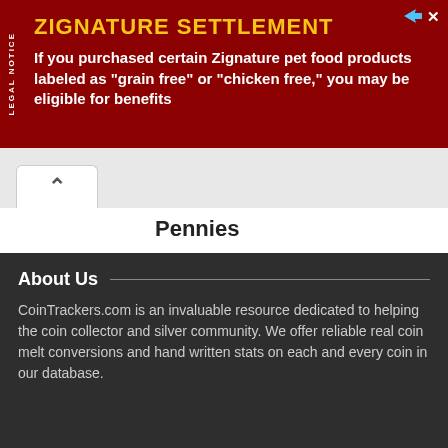[Figure (infographic): Advertisement banner for Zignature Settlement with dark red background, yellow title text 'ZIGNATURE SETTLEMENT', and white body text about purchasing certain Zignature pet food products labeled as grain free or chicken free being eligible for benefits. Includes LEGAL NOTICE vertical tab on left side.]
Pennies
Wheat Pennies
Lincoln Pennies
Indian Head Pennies
Flying Eagle Cents
Gold Coins
About Us
CoinTrackers.com is an invaluable resource dedicated to helping the coin collector and silver community. We offer reliable real coin melt conversions and hand written stats on each and every coin in our database.